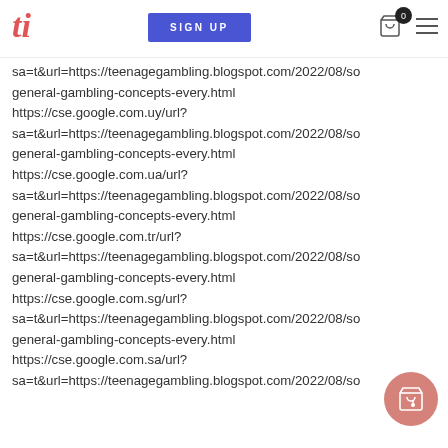ti | SIGN UP | 0
sa=t&url=https://teenagegambling.blogspot.com/2022/08/so general-gambling-concepts-every.html https://cse.google.com.uy/url? sa=t&url=https://teenagegambling.blogspot.com/2022/08/so general-gambling-concepts-every.html https://cse.google.com.ua/url? sa=t&url=https://teenagegambling.blogspot.com/2022/08/so general-gambling-concepts-every.html https://cse.google.com.tr/url? sa=t&url=https://teenagegambling.blogspot.com/2022/08/so general-gambling-concepts-every.html https://cse.google.com.sg/url? sa=t&url=https://teenagegambling.blogspot.com/2022/08/so general-gambling-concepts-every.html https://cse.google.com.sa/url? sa=t&url=https://teenagegambling.blogspot.com/2022/08/so